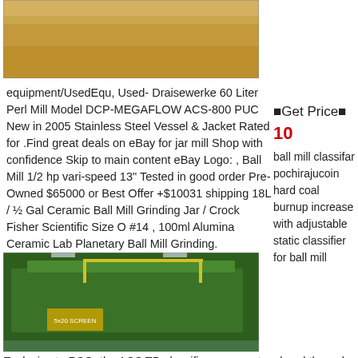[Figure (photo): Top portion of outdoor photo showing dried grass/hay field background, partially cropped]
equipment/UsedEqu, Used- Draisewerke 60 Liter Perl Mill Model DCP-MEGAFLOW ACS-800 PUC New in 2005 Stainless Steel Vessel & Jacket Rated for .Find great deals on eBay for jar mill Shop with confidence Skip to main content eBay Logo: , Ball Mill 1/2 hp vari-speed 13" Tested in good order Pre-Owned $65000 or Best Offer +$10031 shipping 18L / ½ Gal Ceramic Ball Mill Grinding Jar / Crock Fisher Scientific Size O #14 , 100ml Alumina Ceramic Lab Planetary Ball Mill Grinding.
⬛Get Price⬛
10
ball mill classifar pochirajucoin hard coal burnup increase with adjustable static classifier for ball mill
[Figure (photo): Large green industrial screening/classifying machine (5x20 screen) inside a warehouse or industrial facility with high ceilings]
Exclusive to RSG, the ACS TD classifier represents a breakthrough in "third